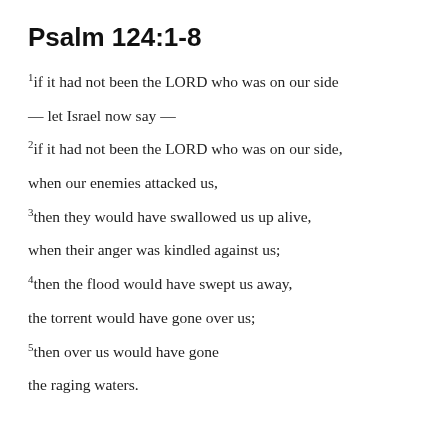Psalm 124:1-8
1if it had not been the LORD who was on our side
— let Israel now say —
2if it had not been the LORD who was on our side,
when our enemies attacked us,
3then they would have swallowed us up alive,
when their anger was kindled against us;
4then the flood would have swept us away,
the torrent would have gone over us;
5then over us would have gone
the raging waters.